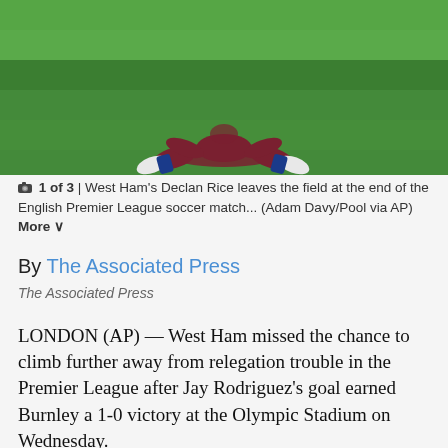[Figure (photo): A West Ham soccer player lying on the green pitch at the end of a match, viewed from behind, wearing claret and blue kit with white boots.]
1 of 3 | West Ham's Declan Rice leaves the field at the end of the English Premier League soccer match... (Adam Davy/Pool via AP) More
By The Associated Press
The Associated Press
LONDON (AP) — West Ham missed the chance to climb further away from relegation trouble in the Premier League after Jay Rodriguez's goal earned Burnley a 1-0 victory at the Olympic Stadium on Wednesday.